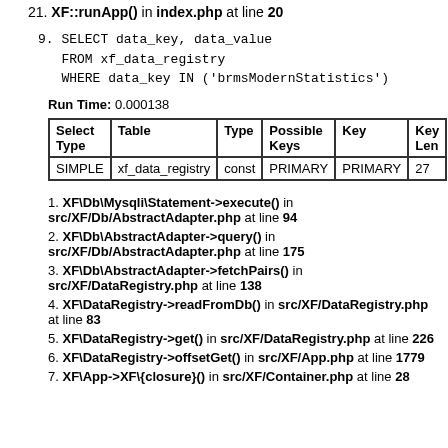21. XF::runApp() in index.php at line 20
9. SELECT data_key, data_value
   FROM xf_data_registry
   WHERE data_key IN ('brmsModernStatistics')
Run Time: 0.000138
| Select Type | Table | Type | Possible Keys | Key | Key Len |
| --- | --- | --- | --- | --- | --- |
| SIMPLE | xf_data_registry | const | PRIMARY | PRIMARY | 27 |
1. XF\Db\Mysqli\Statement->execute() in src/XF/Db/AbstractAdapter.php at line 94
2. XF\Db\AbstractAdapter->query() in src/XF/Db/AbstractAdapter.php at line 175
3. XF\Db\AbstractAdapter->fetchPairs() in src/XF/DataRegistry.php at line 138
4. XF\DataRegistry->readFromDb() in src/XF/DataRegistry.php at line 83
5. XF\DataRegistry->get() in src/XF/DataRegistry.php at line 226
6. XF\DataRegistry->offsetGet() in src/XF/App.php at line 1779
7. XF\App->XF\{closure}() in src/XF/Container.php at line 28